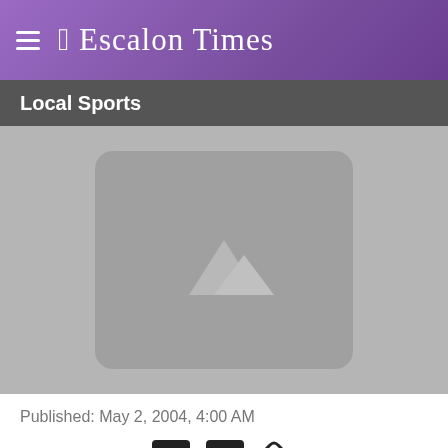≡ Ɛ Escalon Times
Local Sports
[Figure (photo): Placeholder image with mountain/landscape icon on grey background]
Published: May 2, 2004, 4:00 AM
[Figure (other): Social share icons: Facebook, Twitter, link]